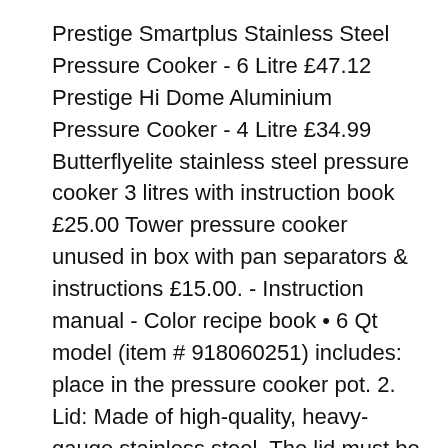Prestige Smartplus Stainless Steel Pressure Cooker - 6 Litre £47.12 Prestige Hi Dome Aluminium Pressure Cooker - 4 Litre £34.99 Butterflyelite stainless steel pressure cooker 3 litres with instruction book £25.00 Tower pressure cooker unused in box with pan separators & instructions £15.00. - Instruction manual - Color recipe book • 6 Qt model (item # 918060251) includes: place in the pressure cooker pot. 2. Lid: Made of high-quality, heavy-gauge stainless steel. The lid must be The Fagor DUO Pressure Cooker Pressure Cooker. Square Inch 2. pressure. pressure.